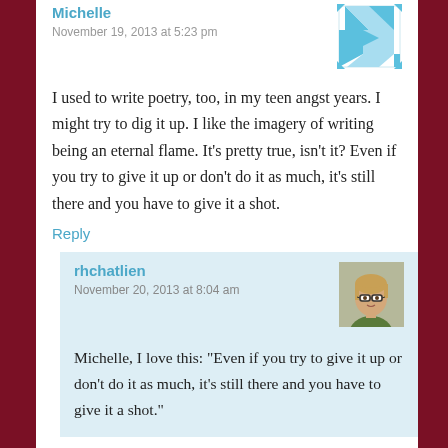Michelle
November 19, 2013 at 5:23 pm
I used to write poetry, too, in my teen angst years. I might try to dig it up. I like the imagery of writing being an eternal flame. It’s pretty true, isn’t it? Even if you try to give it up or don’t do it as much, it’s still there and you have to give it a shot.
Reply
rhchatlien
November 20, 2013 at 8:04 am
Michelle, I love this: “Even if you try to give it up or don’t do it as much, it’s still there and you have to give it a shot.”